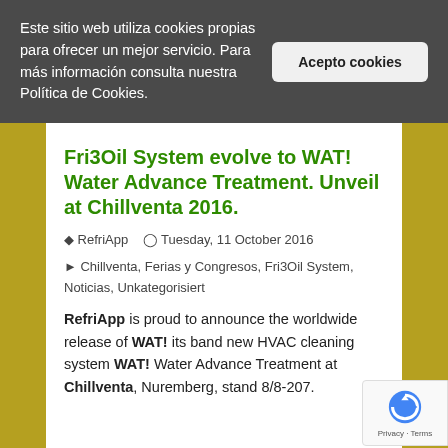Este sitio web utiliza cookies propias para ofrecer un mejor servicio. Para más información consulta nuestra Política de Cookies.
Acepto cookies
Fri3Oil System evolve to WAT! Water Advance Treatment. Unveil at Chillventa 2016.
RefriApp   Tuesday, 11 October 2016
Chillventa, Ferias y Congresos, Fri3Oil System, Noticias, Unkategorisiert
RefriApp is proud to announce the worldwide release of WAT! its band new HVAC cleaning system WAT! Water Advance Treatment at Chillventa, Nuremberg, stand 8/8-207.